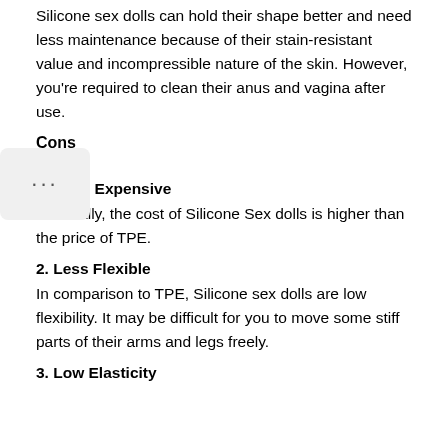Silicone sex dolls can hold their shape better and need less maintenance because of their stain-resistant value and incompressible nature of the skin. However, you're required to clean their anus and vagina after use.
Cons
1. More Expensive
Generally, the cost of Silicone Sex dolls is higher than the price of TPE.
2. Less Flexible
In comparison to TPE, Silicone sex dolls are low flexibility. It may be difficult for you to move some stiff parts of their arms and legs freely.
3. Low Elasticity